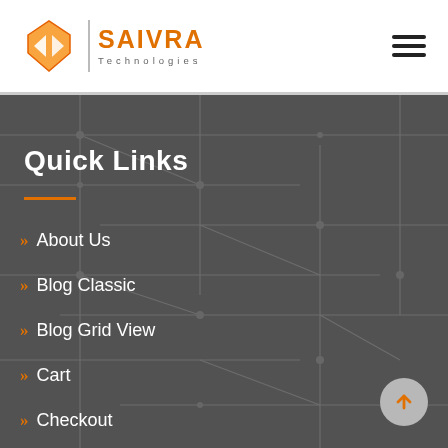[Figure (logo): Saivra Technologies logo with orange arrow/shield icon and company name]
[Figure (illustration): Dark grey background with circuit board decorative pattern and Quick Links navigation section]
Quick Links
About Us
Blog Classic
Blog Grid View
Cart
Checkout